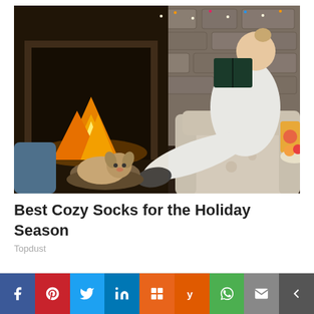[Figure (photo): A cozy indoor scene: a woman in white loungewear sits in an armchair reading a dark book near a stone fireplace with a glowing fire. A small fluffy dog rests in a pet bed on the floor. Fairy lights are visible. Warm holiday atmosphere.]
Best Cozy Socks for the Holiday Season
Topdust